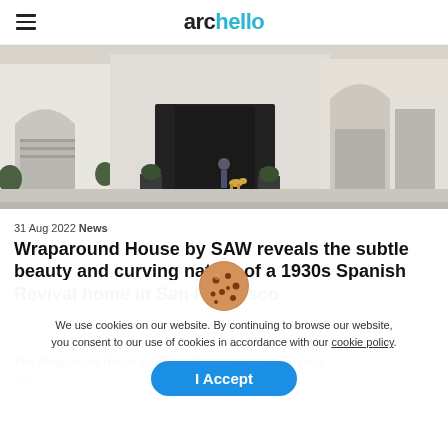archello
[Figure (photo): Street-level photo of a San Francisco residential block showing white/cream stucco houses with garages; a person walking a dog is visible in the centre foreground.]
31 Aug 2022  News
Wraparound House by SAW reveals the subtle beauty and curving nature of a 1930s Spanish Revival home in San Francisco
The Wraparound House by SAW – Spiegel Aihara Workshop has…
We use cookies on our website. By continuing to browse our website, you consent to our use of cookies in accordance with our cookie policy.
I Accept